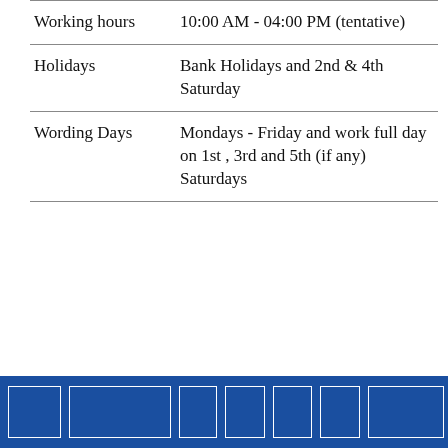| Working hours | 10:00 AM - 04:00 PM (tentative) |
| Holidays | Bank Holidays and 2nd & 4th Saturday |
| Wording Days | Mondays - Friday and work full day on 1st , 3rd and 5th (if any) Saturdays |
[Figure (other): Blue footer bar with white-bordered rectangular boxes arranged horizontally]